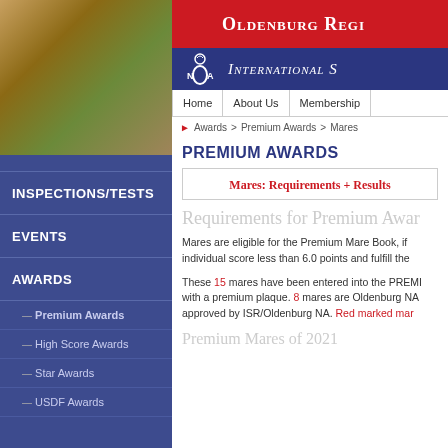[Figure (photo): Photo of horses (mare and foal) in outdoor setting]
STALLIONS
MARES
FOALS
PONY DIVISION
INSPECTIONS/TESTS
EVENTS
AWARDS
— Premium Awards
— High Score Awards
— Star Awards
— USDF Awards
Oldenburg Regi...
International S...
Awards > Premium Awards > Mares
PREMIUM AWARDS
Mares: Requirements + Results
Requirements for Premium Awar...
Mares are eligible for the Premium Mare Book, if individual score less than 6.0 points and fulfill the
These 15 mares have been entered into the PREMI... with a premium plaque. 8 mares are Oldenburg NA... approved by ISR/Oldenburg NA. Red marked mar...
Premium Mares of 2021